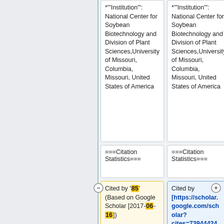*'"Institution'": National Center for Soybean Biotechnology and Division of Plant Sciences,University of Missouri, Columbia, Missouri, United States of America
*'"Institution'": National Center for Soybean Biotechnology and Division of Plant Sciences,University of Missouri, Columbia, Missouri, United States of America
===Citation Statistics===
===Citation Statistics===
Cited by '''85''' (Based on Google Scholar [2017-06-16])
Cited by [https://scholar.google.com/scholar?cites=739444249764049415 4&as_sdt=2005&sci...